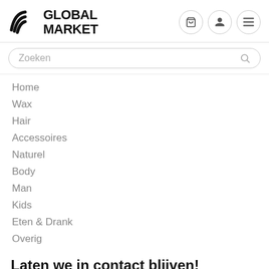GLOBAL MARKET
Zoeken
Home
Wax
Hair
Accessoires
Naturel
Body
Man
Kids
Eten & Drank
Overig
Laten we in contact blijven!
Blijf op de hoogte van de scherpste kortingen en acties!